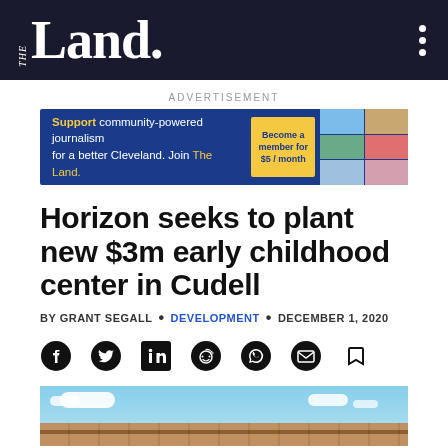THE Land.
ADVERTISEMENT
[Figure (infographic): Advertisement banner for The Land: 'Support community-powered journalism for a better Cleveland. Join The Land.' with 'Become a member for $5/month' button and photo grid.]
Horizon seeks to plant new $3m early childhood center in Cudell
BY GRANT SEGALL • DEVELOPMENT • DECEMBER 1, 2020
[Figure (infographic): Social sharing icons: Facebook, Twitter, LinkedIn, Reddit, WhatsApp, Email, Bookmark]
[Figure (photo): Partial photo of a building with brick facade under a blue sky with clouds]